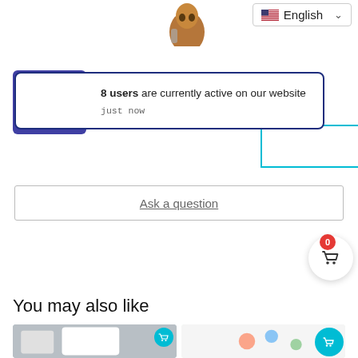[Figure (screenshot): Language selector dropdown showing US flag and 'English' label with chevron]
[Figure (illustration): Notification popup: purple background with cartoon characters illustration on left, text '8 users are currently active on our website just now']
8 users are currently active on our website
just now
Ask a question
[Figure (illustration): Shopping cart button with badge showing 0]
You may also like
[Figure (photo): Children's clothing items on grey background with glasses, add to cart button]
[Figure (photo): Colorful children's clothing items with add to cart circle button]